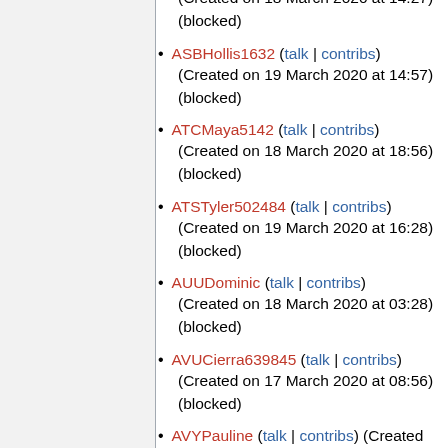(Created on 18 March 2020 at 14:27) (blocked)
ASBHollis1632 (talk | contribs) (Created on 19 March 2020 at 14:57) (blocked)
ATCMaya5142 (talk | contribs) (Created on 18 March 2020 at 18:56) (blocked)
ATSTyler502484 (talk | contribs) (Created on 19 March 2020 at 16:28) (blocked)
AUUDominic (talk | contribs) (Created on 18 March 2020 at 03:28) (blocked)
AVUCierra639845 (talk | contribs) (Created on 17 March 2020 at 08:56) (blocked)
AVYPauline (talk | contribs) (Created on 17 March 2020 at 19:44) (blocked)